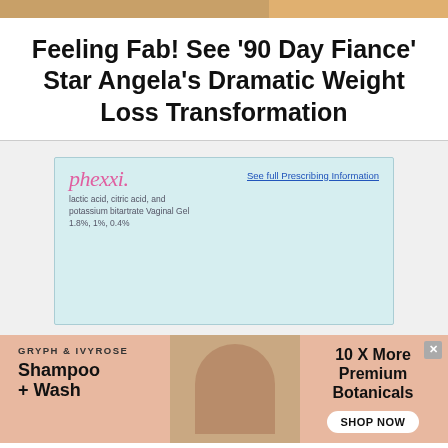[Figure (photo): Top image strip showing partial images]
Feeling Fab! See '90 Day Fiance' Star Angela's Dramatic Weight Loss Transformation
[Figure (other): Phexxi advertisement with logo and prescribing information link. Background is light teal. Shows brand name 'phexxi' in pink italic script, 'See full Prescribing Information' link, and subtitle 'lactic acid, citric acid, and potassium bitartrate Vaginal Gel 1.8%, 1%, 0.4%']
[Figure (other): Bottom advertisement for Gryph & Ivyrose Shampoo + Wash showing brand name, product name, photo of child washing hair, and '10 X More Premium Botanicals' with SHOP NOW button. Salmon/peach background. X close button in top right.]